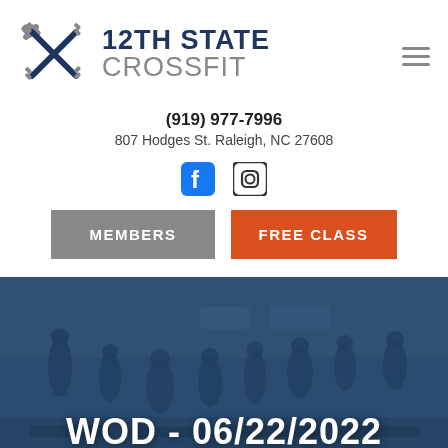[Figure (logo): 12th State CrossFit logo with dumbbell cross icon]
(919) 977-7996
807 Hodges St. Raleigh, NC 27608
[Figure (illustration): Facebook and Instagram social media icons]
MEMBERS
FREE CLASS
[Figure (photo): Outdoor CrossFit class group workout photo with dark blue overlay]
WOD - 06/22/2022